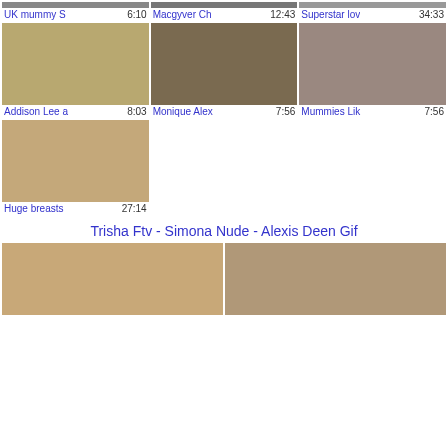[Figure (screenshot): Video thumbnail grid row 1 - three truncated thumbnails at top]
UK mummy S   6:10
Macgyver Ch   12:43
Superstar lov   34:33
[Figure (screenshot): Video thumbnail grid row 2 - three video thumbnails]
Addison Lee a   8:03
Monique Alex   7:56
Mummies Lik   7:56
[Figure (screenshot): Single video thumbnail - Huge breasts]
Huge breasts   27:14
Trisha Ftv - Simona Nude - Alexis Deen Gif
[Figure (screenshot): Two bottom thumbnails side by side]